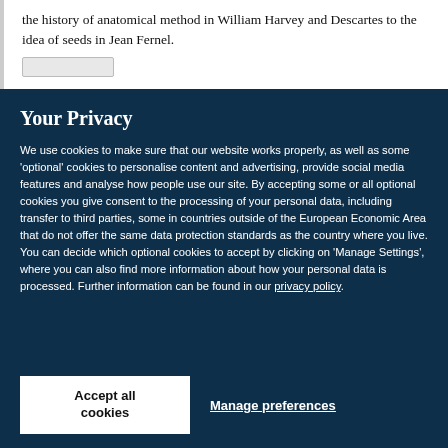the history of anatomical method in William Harvey and Descartes to the idea of seeds in Jean Fernel.
Your Privacy
We use cookies to make sure that our website works properly, as well as some 'optional' cookies to personalise content and advertising, provide social media features and analyse how people use our site. By accepting some or all optional cookies you give consent to the processing of your personal data, including transfer to third parties, some in countries outside of the European Economic Area that do not offer the same data protection standards as the country where you live. You can decide which optional cookies to accept by clicking on 'Manage Settings', where you can also find more information about how your personal data is processed. Further information can be found in our privacy policy.
Accept all cookies
Manage preferences